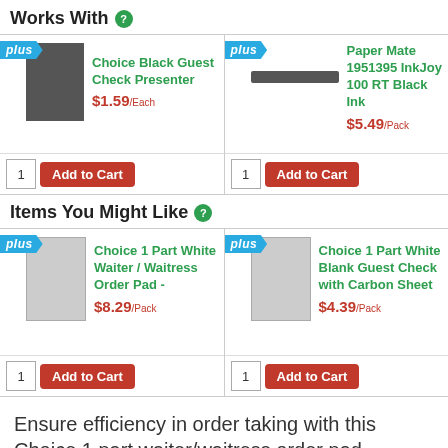Works With ?
[Figure (other): Product card: Choice Black Guest Check Presenter, $1.59/Each, with Add to Cart button]
[Figure (other): Product card: Paper Mate 1951395 InkJoy 100 RT Black Ink, $5.49/Pack, with Add to Cart button]
Items You Might Like ?
[Figure (other): Product card: Choice 1 Part White Waiter / Waitress Order Pad -, $8.29/Pack, with Add to Cart button]
[Figure (other): Product card: Choice 1 Part White Blank Guest Check with Carbon Sheet, $4.39/Pack, with Add to Cart button]
Ensure efficiency in order taking with this Choice 1 part waiter/waitress order pad